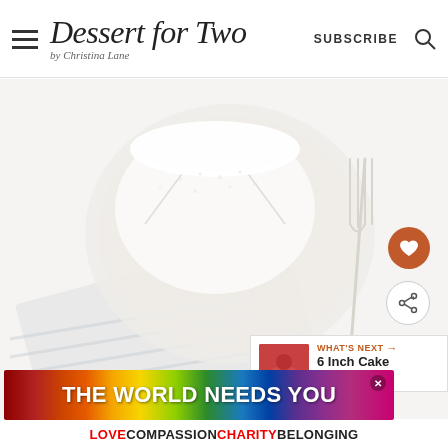Dessert for Two by Christina Lane — SUBSCRIBE
[Figure (photo): White frosted cake slice on a round plate with a fork, striped linen napkin on white background]
WHAT'S NEXT → 6 Inch Cake Recipes
[Figure (infographic): Advertisement banner with rainbow gradient background reading THE WORLD NEEDS YOU with a close button, and tagline LOVE COMPASSION CHARITY BELONGING]